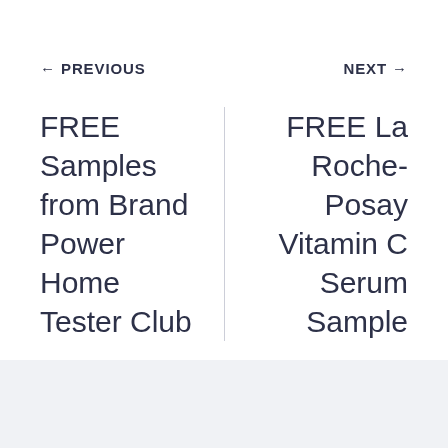← PREVIOUS
NEXT →
FREE Samples from Brand Power Home Tester Club
FREE La Roche-Posay Vitamin C Serum Sample